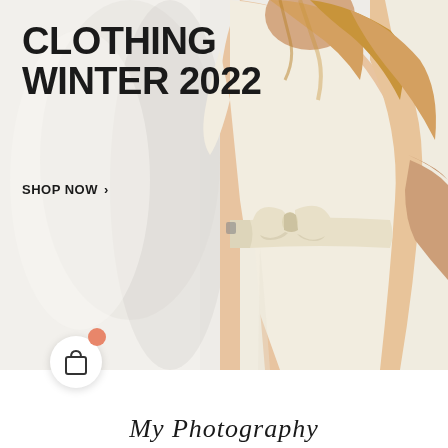CLOTHING WINTER 2022
SHOP NOW >
[Figure (photo): Woman wearing a cream/off-white belted wrap dress or jumpsuit, photographed from behind showing the bow belt detail at the waist, with blonde hair visible. Background is a light grey/white studio setting.]
[Figure (illustration): Shopping bag icon with notification dot (orange/salmon circle) in top right corner, displayed in a white circular button]
My Photography